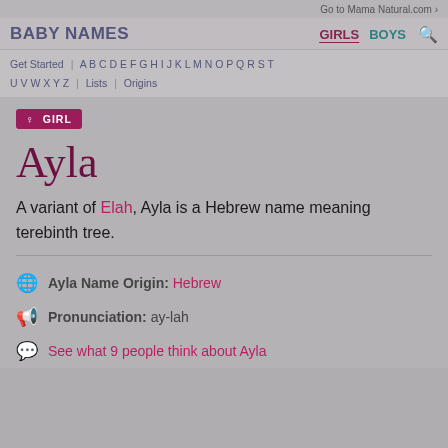Go to MamaNatural.com >
BABY NAMES   GIRLS   BOYS
Get Started | A B C D E F G H I J K L M N O P Q R S T U V W X Y Z | Lists | Origins
GIRL
Ayla
A variant of Elah, Ayla is a Hebrew name meaning terebinth tree.
Ayla Name Origin: Hebrew
Pronunciation: ay-lah
See what 9 people think about Ayla